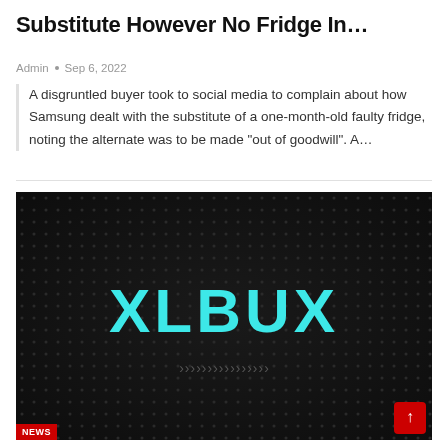Substitute However No Fridge In…
Admin • Sep 6, 2022
A disgruntled buyer took to social media to complain about how Samsung dealt with the substitute of a one-month-old faulty fridge, noting the alternate was to be made "out of goodwill". A…
[Figure (logo): Dark background image with cyan/teal bold text reading XLBUX, with a row of chevron/arrow symbols below it, a red NEWS badge at bottom-left, and a red scroll-to-top button at bottom-right.]